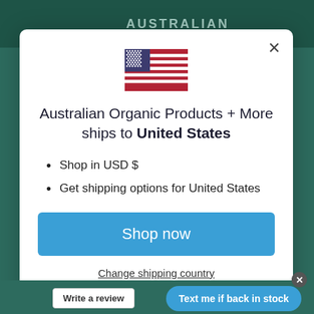AUSTRALIAN
[Figure (illustration): USA flag emoji displayed in center of modal dialog]
Australian Organic Products + More ships to United States
Shop in USD $
Get shipping options for United States
Shop now
Change shipping country
Write a review
Text me if back in stock